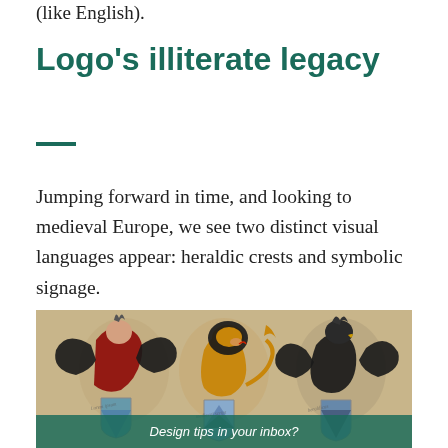(like English).
Logo's illiterate legacy
Jumping forward in time, and looking to medieval Europe, we see two distinct visual languages appear: heraldic crests and symbolic signage.
[Figure (photo): Medieval heraldic crests illustration showing three heraldic figures: a half-human half-bird creature on the left, a golden lion-like figure in the center, and a black eagle on the right, each atop decorative shields with geometric patterns. A banner overlay at the bottom reads 'Design tips in your inbox?']
Design tips in your inbox?